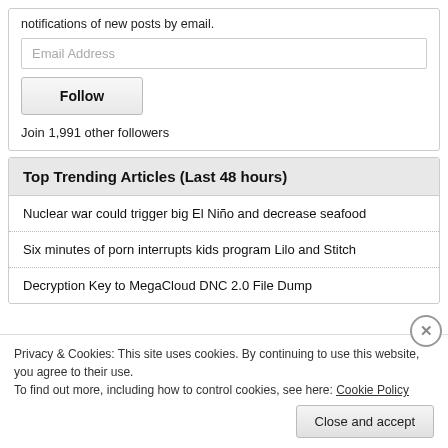notifications of new posts by email.
Email Address
Follow
Join 1,991 other followers
Top Trending Articles (Last 48 hours)
Nuclear war could trigger big El Niño and decrease seafood
Six minutes of porn interrupts kids program Lilo and Stitch
Decryption Key to MegaCloud DNC 2.0 File Dump
Privacy & Cookies: This site uses cookies. By continuing to use this website, you agree to their use.
To find out more, including how to control cookies, see here: Cookie Policy
Close and accept